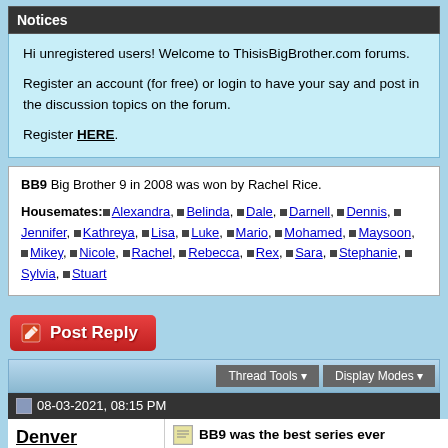Notices
Hi unregistered users! Welcome to ThisisBigBrother.com forums.

Register an account (for free) or login to have your say and post in the discussion topics on the forum.

Register HERE.
BB9 Big Brother 9 in 2008 was won by Rachel Rice.

Housemates: Alexandra, Belinda, Dale, Darnell, Dennis, Jennifer, Kathreya, Lisa, Luke, Mario, Mohamed, Maysoon, Mikey, Nicole, Rachel, Rebecca, Rex, Sara, Stephanie, Sylvia, Stuart
[Figure (other): Post Reply button (red rounded rectangle with pencil icon)]
Thread Tools ▾   Display Modes ▾
08-03-2021, 08:15 PM
Denver
I Cant Breathe
BB9 was the best series ever
And you have all just got to live with that fact